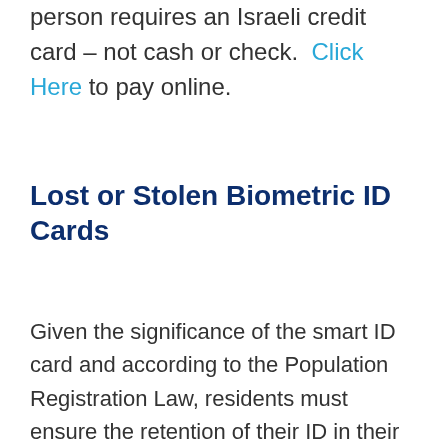person requires an Israeli credit card – not cash or check. Click Here to pay online.
Lost or Stolen Biometric ID Cards
Given the significance of the smart ID card and according to the Population Registration Law, residents must ensure the retention of their ID in their possession and under their